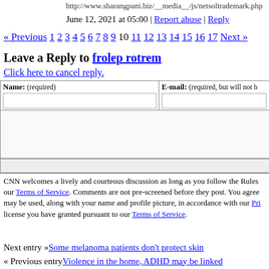http://www.sharangpani.biz/__media__/js/netsoltrademark.php
June 12, 2021 at 05:00 | Report abuse | Reply
« Previous 1 2 3 4 5 6 7 8 9 10 11 12 13 14 15 16 17 Next »
Leave a Reply to frolep rotrem
Click here to cancel reply.
| Name: (required) | E-mail: (required, but will not be shown) |
| --- | --- |
|   |   |
CNN welcomes a lively and courteous discussion as long as you follow the Rules of our Terms of Service. Comments are not pre-screened before they post. You agree that anything you post may be used, along with your name and profile picture, in accordance with our Privacy Policy and the license you have granted pursuant to our Terms of Service.
Next entry »Some melanoma patients don't protect skin
« Previous entryViolence in the home, ADHD may be linked